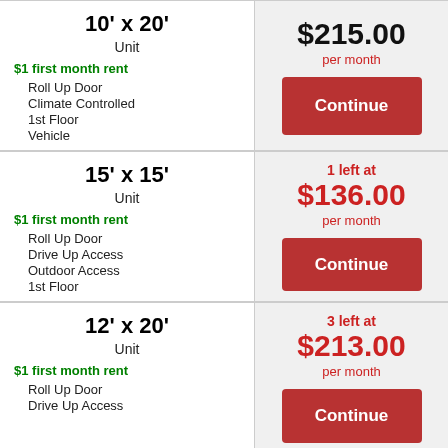10' x 20' Unit
$215.00 per month
$1 first month rent
Roll Up Door
Climate Controlled
1st Floor
Vehicle
Continue
15' x 15' Unit
1 left at $136.00 per month
$1 first month rent
Roll Up Door
Drive Up Access
Outdoor Access
1st Floor
Continue
12' x 20' Unit
3 left at $213.00 per month
$1 first month rent
Roll Up Door
Drive Up Access
Continue